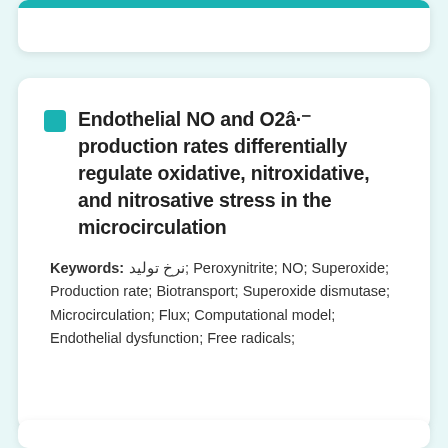Endothelial NO and O2â·â» production rates differentially regulate oxidative, nitroxidative, and nitrosative stress in the microcirculation
Keywords: نرخ تولید; Peroxynitrite; NO; Superoxide; Production rate; Biotransport; Superoxide dismutase; Microcirculation; Flux; Computational model; Endothelial dysfunction; Free radicals;